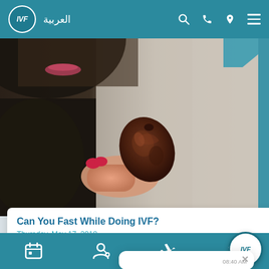IVF | العربية
[Figure (photo): Close-up photo of a woman in hijab holding a date fruit with red nail polish. Blurred face, dark background on left, light background on right.]
Can You Fast While Doing IVF?
Thursday, May 17, 2018
Fasting during the month of Ramadan does not seem to have a significant effect
08:40 AM
IVF bottom navigation bar